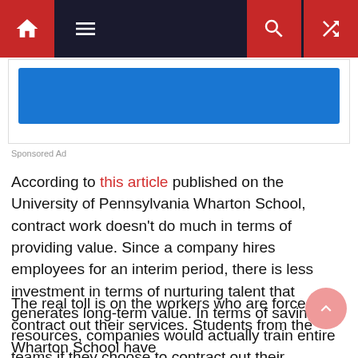Navigation bar with home, menu, search, and shuffle icons
[Figure (other): Blue banner advertisement strip]
Sponsored Ad
According to this article published on the University of Pennsylvania Wharton School, contract work doesn’t do much in terms of providing value. Since a company hires employees for an interim period, there is less investment in terms of nurturing talent that generates long-term value. In terms of saving resources, companies would actually train entire teams if they choose to contract out their activities to outsourcers. This may benefit the bottom line, but Wharton professor Claudine D. Gartenberg notes that the practice of contracting out may entail serious “social consequences”.
The real toll is on the workers who are forced to contract out their services. Students from the Wharton School have